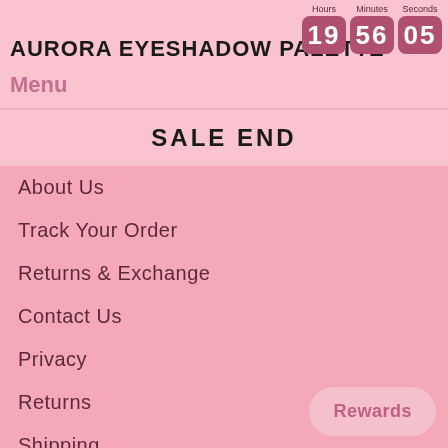AURORA EYESHADOW PALETTE  Hours 19  Minutes 56  Seconds 05
Menu
SALE END
About Us
Track Your Order
Returns & Exchange
Contact Us
Privacy
Returns
Shipping
Duties & Taxes
Policy Terms
Rewards